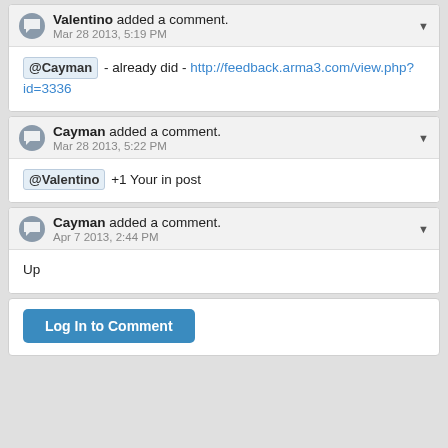Valentino added a comment. Mar 28 2013, 5:19 PM
@Cayman - already did - http://feedback.arma3.com/view.php?id=3336
Cayman added a comment. Mar 28 2013, 5:22 PM
@Valentino +1 Your in post
Cayman added a comment. Apr 7 2013, 2:44 PM
Up
Log In to Comment